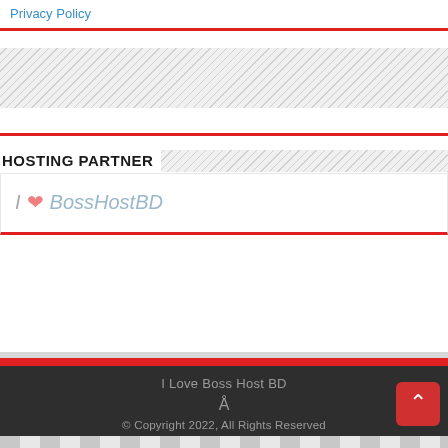Privacy Policy
HOSTING PARTNER
I ❤ BossHostBD
I Love Boss Host BD
© Copyright 2022, All Rights Reserved